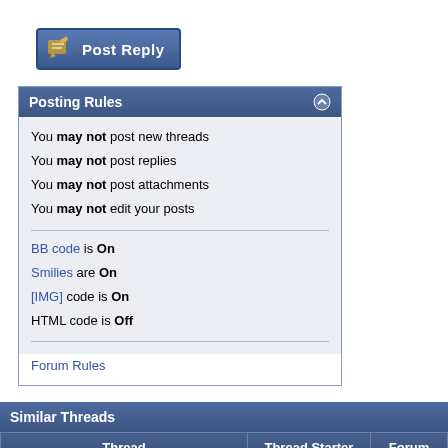[Figure (screenshot): Post Reply button with pencil/edit icon on blue gradient background]
| Posting Rules |
| --- |
| You may not post new threads |
| You may not post replies |
| You may not post attachments |
| You may not edit your posts |
| BB code is On |
| Smilies are On |
| [IMG] code is On |
| HTML code is Off |
| Forum Rules |
| Thread | Thread Starter | Forum |
| --- | --- | --- |
| locale: Cannot Set LC_ALL to default locale: No such file or directory | asym | Linux - |
| cannot lock locale archive "/usr/lib64/locale/locale-archive": Permission denied when building Multilib Cross Linux from Scratch | Gunnersky2002 | Linux - |
| "locale not supported by Xlib, locale set to C" | Irad | Linux - |